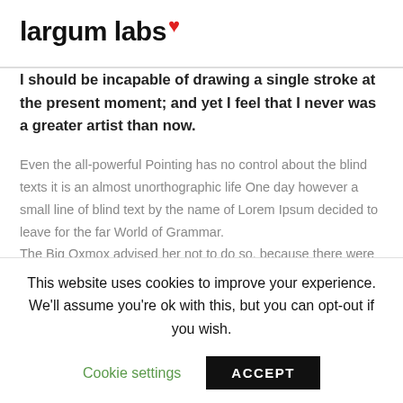largum labs ❤
I should be incapable of drawing a single stroke at the present moment; and yet I feel that I never was a greater artist than now.
Even the all-powerful Pointing has no control about the blind texts it is an almost unorthographic life One day however a small line of blind text by the name of Lorem Ipsum decided to leave for the far World of Grammar. The Big Oxmox advised her not to do so, because there were thousands of bad Commas, wild Question Marks and devious
This website uses cookies to improve your experience. We'll assume you're ok with this, but you can opt-out if you wish.
Cookie settings
ACCEPT